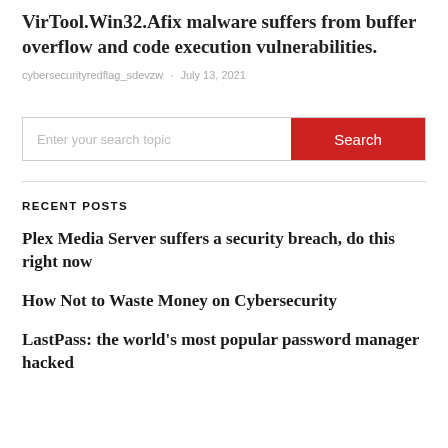VirTool.Win32.Afix malware suffers from buffer overflow and code execution vulnerabilities.
cybersecurityredflag_sdevzw · July 13, 2021
Enter your search topic
RECENT POSTS
Plex Media Server suffers a security breach, do this right now
How Not to Waste Money on Cybersecurity
LastPass: the world's most popular password manager hacked